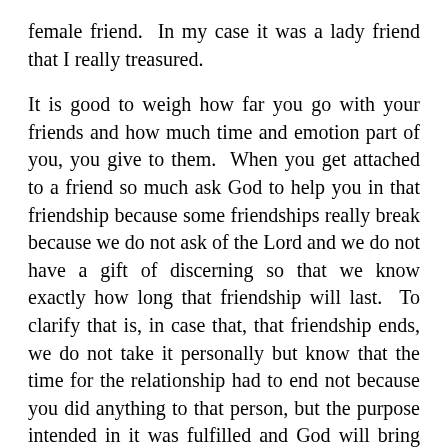female friend. In my case it was a lady friend that I really treasured.
It is good to weigh how far you go with your friends and how much time and emotion part of you, you give to them. When you get attached to a friend so much ask God to help you in that friendship because some friendships really break because we do not ask of the Lord and we do not have a gift of discerning so that we know exactly how long that friendship will last. To clarify that is, in case that, that friendship ends, we do not take it personally but know that the time for the relationship had to end not because you did anything to that person, but the purpose intended in it was fulfilled and God will bring another friendship for another purpose. In that regard, we will not have bad feelings about others and take them badly or have grudges. I am praying that God will help us understand that because I